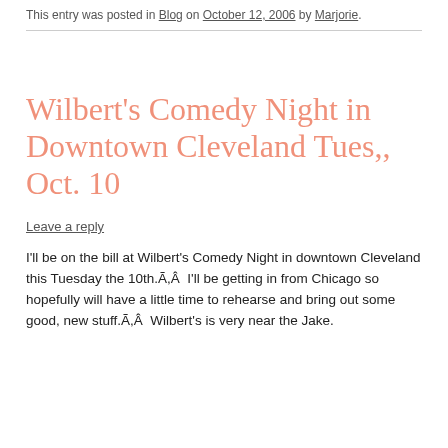This entry was posted in Blog on October 12, 2006 by Marjorie.
Wilbert's Comedy Night in Downtown Cleveland Tues,, Oct. 10
Leave a reply
I'll be on the bill at Wilbert's Comedy Night in downtown Cleveland this Tuesday the 10th.Ã,Â  I'll be getting in from Chicago so hopefully will have a little time to rehearse and bring out some good, new stuff.Ã,Â  Wilbert's is very near the Jake.